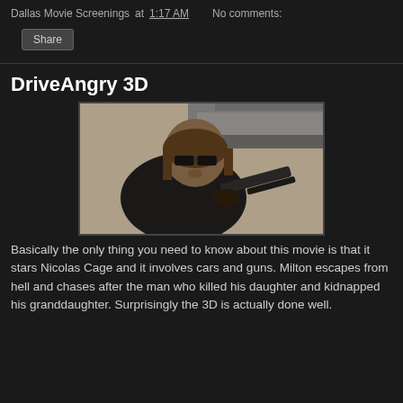Dallas Movie Screenings at 1:17 AM    No comments:
Share
DriveAngry 3D
[Figure (photo): Movie still from Drive Angry 3D showing a man with sunglasses and long hair holding a gun, looking downward toward camera with a bridge or overpass structure visible in background]
Basically the only thing you need to know about this movie is that it stars Nicolas Cage and it involves cars and guns. Milton escapes from hell and chases after the man who killed his daughter and kidnapped his granddaughter. Surprisingly the 3D is actually done well.